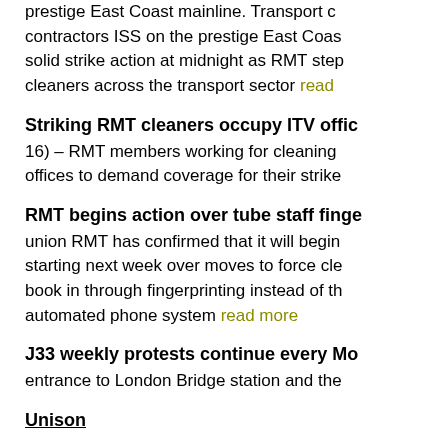took solid support for strike action as the prestige East Coast mainline. Transport contractors ISS on the prestige East Coast solid strike action at midnight as RMT step cleaners across the transport sector read more
Striking RMT cleaners occupy ITV offic
16) – RMT members working for cleaning offices to demand coverage for their strike
RMT begins action over tube staff finge
union RMT has confirmed that it will begin starting next week over moves to force cle book in through fingerprinting instead of th automated phone system read more
J33 weekly protests continue every Mo
entrance to London Bridge station and the
Unison
60 Unison members of Glasgow City Co tomorrow over the suspension of a me